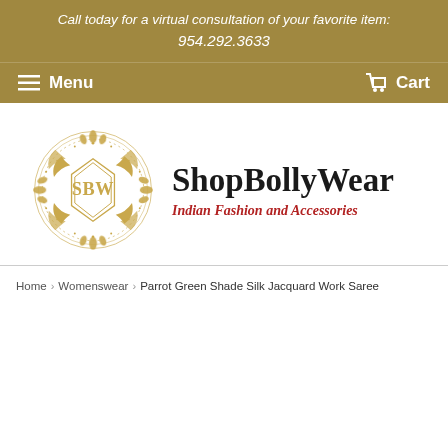Call today for a virtual consultation of your favorite item: 954.292.3633
Menu   Cart
[Figure (logo): ShopBollyWear logo: ornamental gold circular design with 'SBW' monogram, beside text 'ShopBollyWear' and tagline 'Indian Fashion and Accessories']
Home › Womenswear › Parrot Green Shade Silk Jacquard Work Saree